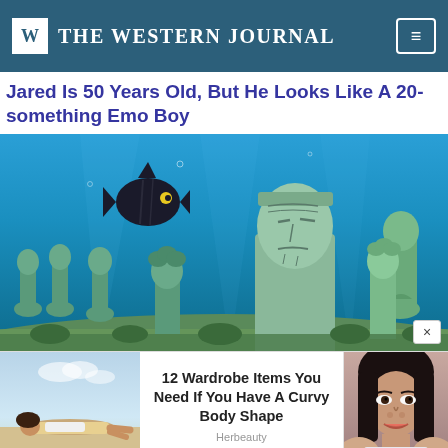THE WESTERN JOURNAL
Jared Is 50 Years Old, But He Looks Like A 20-something Emo Boy
[Figure (photo): Underwater photograph showing aquatic statues/sculptures submerged in blue water with a dark fish swimming above them]
[Figure (photo): Advertisement image showing a woman lying on a beach]
12 Wardrobe Items You Need If You Have A Curvy Body Shape
Herbeauty
[Figure (photo): Portrait of a woman with dark hair, advertisement image]